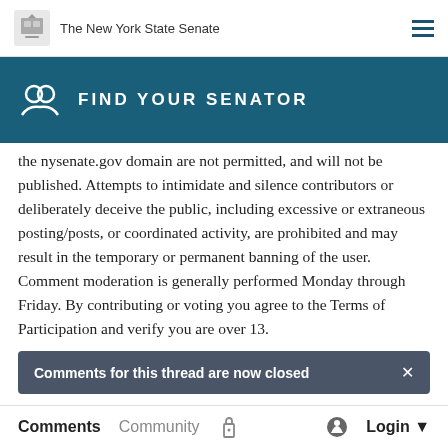The New York State Senate
FIND YOUR SENATOR
the nysenate.gov domain are not permitted, and will not be published. Attempts to intimidate and silence contributors or deliberately deceive the public, including excessive or extraneous posting/posts, or coordinated activity, are prohibited and may result in the temporary or permanent banning of the user. Comment moderation is generally performed Monday through Friday. By contributing or voting you agree to the Terms of Participation and verify you are over 13.
Comments for this thread are now closed
Comments  Community  Login